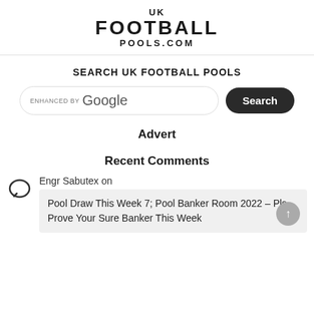UK FOOTBALL POOLS.COM
SEARCH UK FOOTBALL POOLS
ENHANCED BY Google  Search
Advert
Recent Comments
Engr Sabutex on
Pool Draw This Week 7; Pool Banker Room 2022 – Pls Prove Your Sure Banker This Week